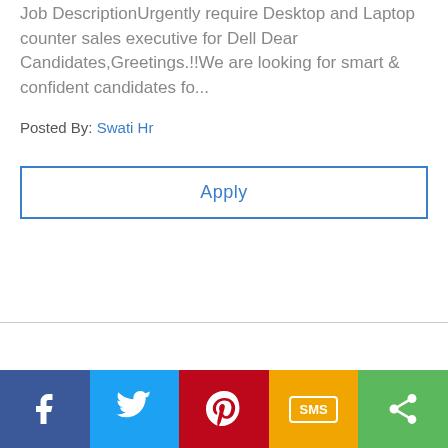Job DescriptionUrgently require Desktop and Laptop counter sales executive for Dell Dear Candidates,Greetings.!!We are looking for smart & confident candidates fo...
Posted By: Swati Hr
Apply
Social share bar: Facebook, Twitter, Pinterest, SMS, Share